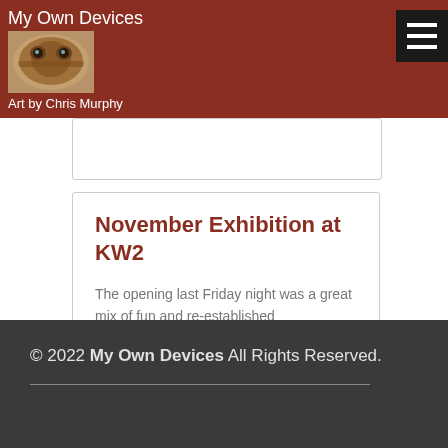My Own Devices
Art by Chris Murphy
November Exhibition at KW2
The opening last Friday night was a great mix of fun and re-established connections. I always joke that there are only 100 people in Madison,
READ MORE »
1   2
© 2022 My Own Devices All Rights Reserved.